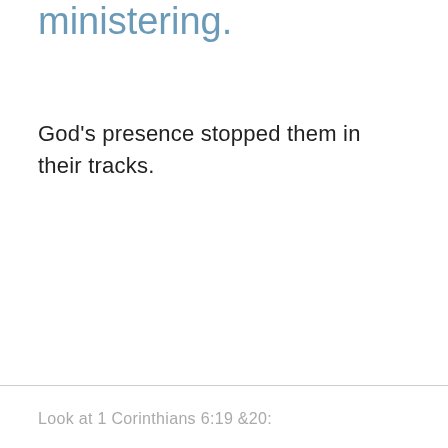ministering.
God's presence stopped them in their tracks.
Look at 1 Corinthians 6:19 &20: